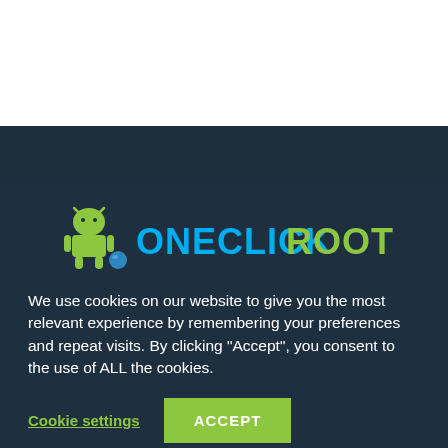[Figure (logo): OneClickRoot logo with Android robot mascot holding a blue ball, text 'ONECLICKROOT' in cyan and green]
We use cookies on our website to give you the most relevant experience by remembering your preferences and repeat visits. By clicking "Accept", you consent to the use of ALL the cookies.
Cookie settings
ACCEPT